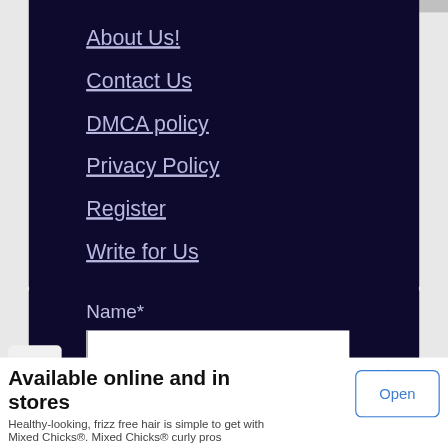About Us!
Contact Us
DMCA policy
Privacy Policy
Register
Write for Us
Name*
[Figure (screenshot): Advertisement banner: 'Available online and in stores' with Open button. Healthy-looking, frizz free hair is simple to get with Mixed Chicks®. Mixed Chicks® curly pros]